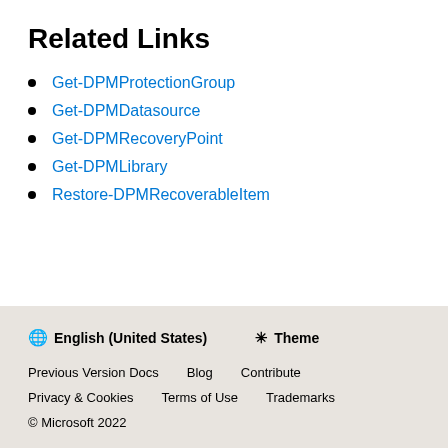Related Links
Get-DPMProtectionGroup
Get-DPMDatasource
Get-DPMRecoveryPoint
Get-DPMLibrary
Restore-DPMRecoverableItem
English (United States)  Theme  Previous Version Docs  Blog  Contribute  Privacy & Cookies  Terms of Use  Trademarks  © Microsoft 2022